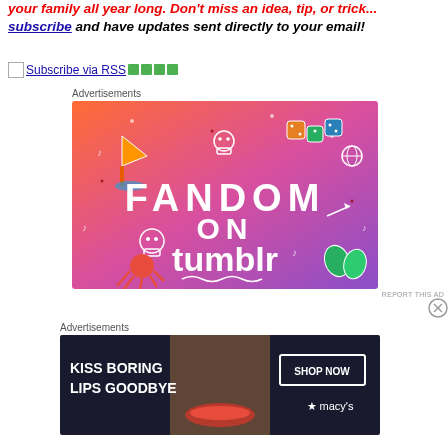your family all year long. Don't miss an idea, tip, or trick... subscribe and have updates sent directly to your email!
[Figure (screenshot): RSS subscribe button link with orange/green RSS icon]
Advertisements
[Figure (illustration): Fandom on Tumblr advertisement with colorful gradient orange to purple background, doodle art, sailboat, skull, text FANDOM ON tumblr]
REPORT THIS AD
Advertisements
[Figure (photo): Macy's lipstick advertisement: KISS BORING LIPS GOODBYE with SHOP NOW button and Macy's logo, woman's face showing red lips]